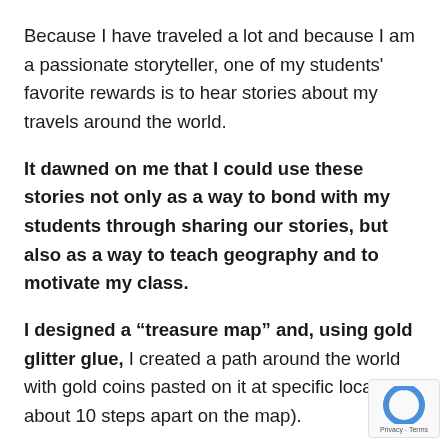Because I have traveled a lot and because I am a passionate storyteller, one of my students' favorite rewards is to hear stories about my travels around the world.
It dawned on me that I could use these stories not only as a way to bond with my students through sharing our stories, but also as a way to teach geography and to motivate my class.
I designed a “treasure map” and, using gold glitter glue, I created a path around the world with gold coins pasted on it at specific locat (and about 10 steps apart on the map).
[Figure (logo): reCAPTCHA badge with circular arrow logo and Privacy - Terms text]